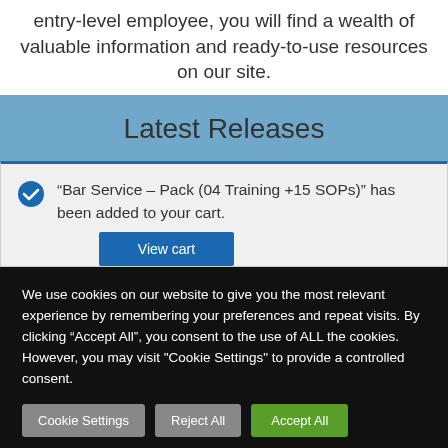entry-level employee, you will find a wealth of valuable information and ready-to-use resources on our site.
Latest Releases
“Bar Service – Pack (04 Training +15 SOPs)” has been added to your cart.
[Figure (screenshot): View cart button (blue)]
We use cookies on our website to give you the most relevant experience by remembering your preferences and repeat visits. By clicking “Accept All”, you consent to the use of ALL the cookies. However, you may visit "Cookie Settings" to provide a controlled consent.
Cookie Settings
Reject All
Accept All